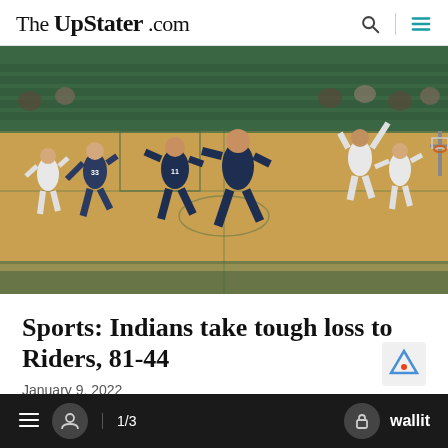The UpStater .com
[Figure (photo): Basketball game photo showing players on an indoor basketball court with green and yellow gym colors. Players in dark blue and white uniforms competing.]
Sports: Indians take tough loss to Riders, 81-44
January 9, 2022
≡  [user icon]  1/3  [lock icon]  wallit